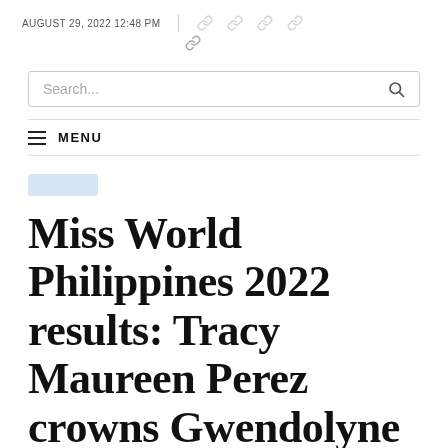AUGUST 29, 2022 12:48 PM
Search...
MENU
Miss World Philippines 2022 results: Tracy Maureen Perez crowns Gwendolyne